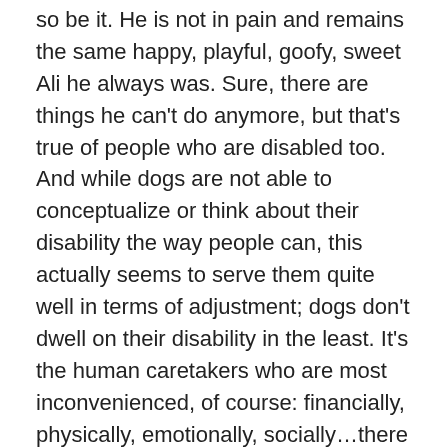so be it. He is not in pain and remains the same happy, playful, goofy, sweet Ali he always was. Sure, there are things he can't do anymore, but that's true of people who are disabled too. And while dogs are not able to conceptualize or think about their disability the way people can, this actually seems to serve them quite well in terms of adjustment; dogs don't dwell on their disability in the least. It's the human caretakers who are most inconvenienced, of course: financially, physically, emotionally, socially…there are many lifestyle sacrifices that come along with taking care of a disabled dog. As far as I'm concerned this is what we all sign up for when we invite a helpless being into our lives with the tacit promise to take care of them (not to degrade Ali and his brethren by calling them helpless, but dogs have been [over]bred to be utterly dependent on humans and, in our